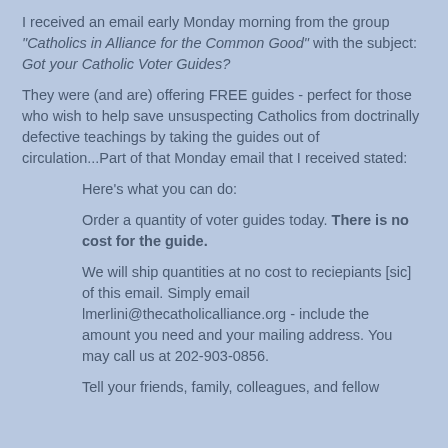I received an email early Monday morning from the group "Catholics in Alliance for the Common Good" with the subject: Got your Catholic Voter Guides?
They were (and are) offering FREE guides - perfect for those who wish to help save unsuspecting Catholics from doctrinally defective teachings by taking the guides out of circulation...Part of that Monday email that I received stated:
Here's what you can do:
Order a quantity of voter guides today. There is no cost for the guide.
We will ship quantities at no cost to reciepiants [sic] of this email. Simply email lmerlini@thecatholicalliance.org - include the amount you need and your mailing address. You may call us at 202-903-0856.
Tell your friends, family, colleagues, and fellow